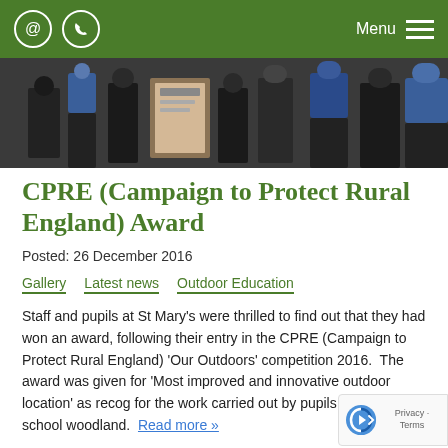@ [phone icon] Menu
[Figure (photo): Group of school children and adults standing indoors, some wearing blue uniforms, holding what appears to be an award certificate or board]
CPRE (Campaign to Protect Rural England) Award
Posted: 26 December 2016
Gallery
Latest news
Outdoor Education
Staff and pupils at St Mary's were thrilled to find out that they had won an award, following their entry in the CPRE (Campaign to Protect Rural England) 'Our Outdoors' competition 2016.  The award was given for 'Most improved and innovative outdoor location' as recognised for the work carried out by pupils in their school woodland.  Read more »